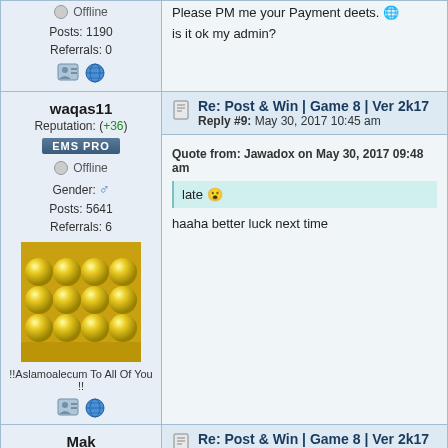Offline
Posts: 1190
Referrals: 0
Please PM me your Payment deets. [emoji globe]
is it ok my admin?
waqas11
Reputation: (+36)
EMS PRO
Offline
Gender: [male]
Posts: 5641
Referrals: 6
[Figure (photo): Avatar image showing rows of yellow spherical objects/capsules on a golden reflective surface]
!!Aslamoalecum To All Of You !!
Re: Post & Win | Game 8 | Ver 2k17
Reply #9: May 30, 2017 10:45 am
Quote from: Jawadox on May 30, 2017 09:48 am
late [emoji]
haaha better luck next time
Mak
Reputation: (+205)
ADMINISTRATOR
Re: Post & Win | Game 8 | Ver 2k17
Reply #10: May 30, 2017 02:14 pm
Sharif1, Ikuzmanovski11, Alfandalf Paid [emoji]